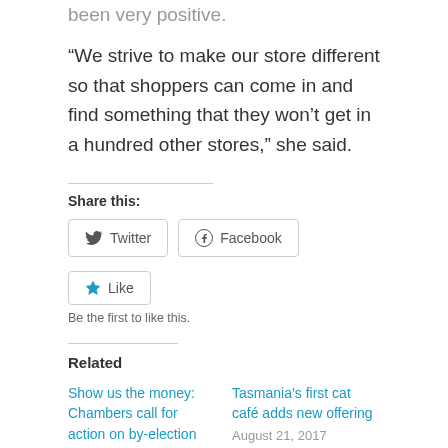been very positive.
“We strive to make our store different so that shoppers can come in and find something that they won’t get in a hundred other stores,” she said.
Share this:
[Figure (other): Twitter and Facebook share buttons]
[Figure (other): Like button with star icon]
Be the first to like this.
Related
Show us the money: Chambers call for action on by-election promises
August 30, 2018
In "News"
Tasmania’s first cat café adds new offering
August 21, 2017
In "News"